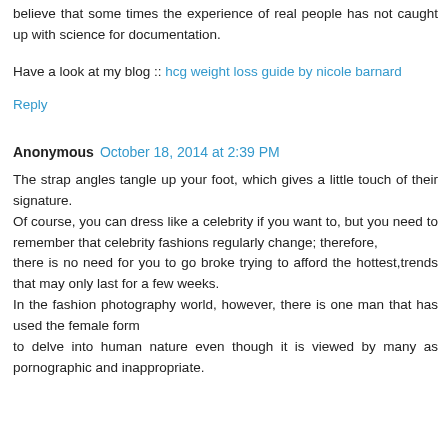believe that some times the experience of real people has not caught up with science for documentation.
Have a look at my blog :: hcg weight loss guide by nicole barnard
Reply
Anonymous October 18, 2014 at 2:39 PM
The strap angles tangle up your foot, which gives a little touch of their signature. Of course, you can dress like a celebrity if you want to, but you need to remember that celebrity fashions regularly change; therefore, there is no need for you to go broke trying to afford the hottest,trends that may only last for a few weeks. In the fashion photography world, however, there is one man that has used the female form to delve into human nature even though it is viewed by many as pornographic and inappropriate.